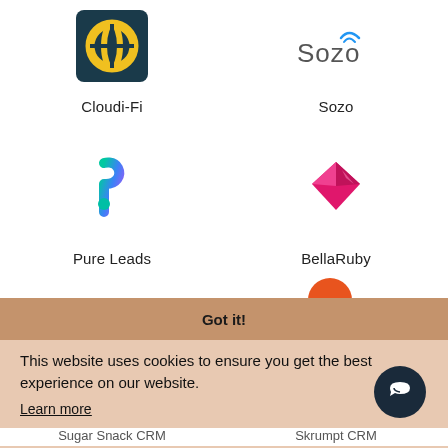[Figure (logo): Cloudi-Fi logo - dark teal background with yellow/orange wifi-like circular icon]
Cloudi-Fi
[Figure (logo): Sozo logo - text logo with wifi waves above the o]
Sozo
[Figure (logo): Pure Leads logo - green and purple P letter with drop shape]
Pure Leads
[Figure (logo): BellaRuby logo - pink/magenta diamond gem shape]
BellaRuby
[Figure (logo): Partially visible orange circular logo]
Got it!
This website uses cookies to ensure you get the best experience on our website.
Learn more
Sugar Snack CRM
Skrumpt CRM